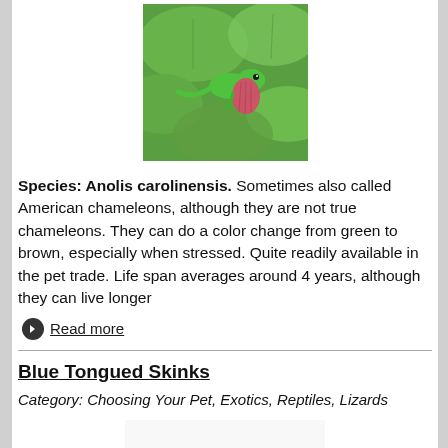[Figure (photo): Close-up photo of a green anole lizard (Anolis carolinensis) perched on green leaves, displaying its pink dewlap throat fan]
Species: Anolis carolinensis. Sometimes also called American chameleons, although they are not true chameleons. They can do a color change from green to brown, especially when stressed. Quite readily available in the pet trade. Life span averages around 4 years, although they can live longer
Read more
Blue Tongued Skinks
Category: Choosing Your Pet, Exotics, Reptiles, Lizards
[Figure (photo): Photo of a blue tongued skink lizard, showing its banded brown and orange patterned scales, viewed from above]